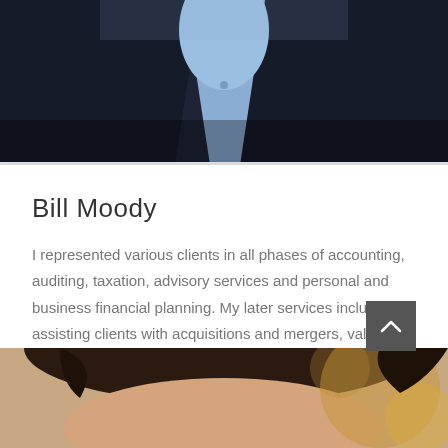[Figure (photo): Partial photo of a man in a dark navy suit with a light blue dress shirt, cropped to show the torso and lower face area only.]
Bill Moody
I represented various clients in all phases of accounting, auditing, taxation, advisory services and personal and business financial planning. My later services include assisting clients with acquisitions and mergers, valuation
[Figure (photo): Partial photo of a woman with dark brown hair, cropped to show just the top of the head and forehead area, with warm bokeh background.]